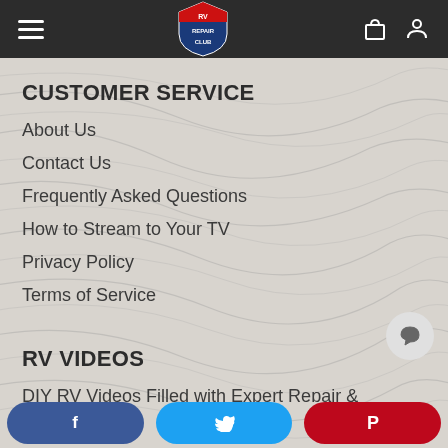RV Repair Club navigation bar
CUSTOMER SERVICE
About Us
Contact Us
Frequently Asked Questions
How to Stream to Your TV
Privacy Policy
Terms of Service
RV VIDEOS
DIY RV Videos Filled with Expert Repair & Maintenar
RV Electrical Systems & Maintenance
Facebook | Twitter | Pinterest social share buttons